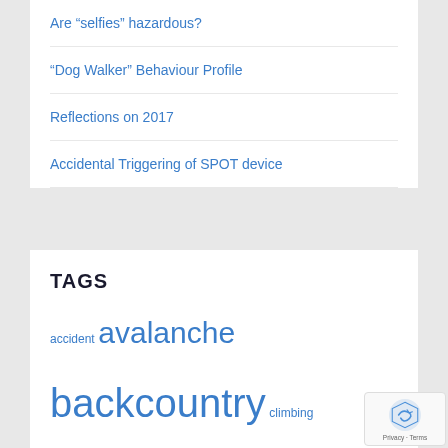Are “selfies” hazardous?
“Dog Walker” Behaviour Profile
Reflections on 2017
Accidental Triggering of SPOT device
TAGS
accident avalanche backcountry climbing communications death dementia emergency funding gear GPS grim helicopter HETS how-to InfoSAR Logan 2017 management map meta news numbers olympics